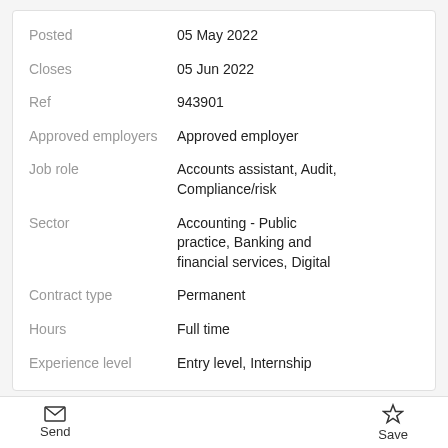| Field | Value |
| --- | --- |
| Posted | 05 May 2022 |
| Closes | 05 Jun 2022 |
| Ref | 943901 |
| Approved employers | Approved employer |
| Job role | Accounts assistant, Audit, Compliance/risk |
| Sector | Accounting - Public practice, Banking and financial services, Digital |
| Contract type | Permanent |
| Hours | Full time |
| Experience level | Entry level, Internship |
Junior Consultant in FAIT, Consulting Services
At EY, you'll have the chance to build a career as
Send  Save